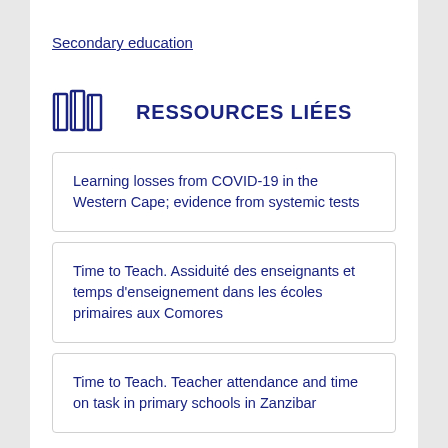Secondary education
RESSOURCES LIÉES
Learning losses from COVID-19 in the Western Cape; evidence from systemic tests
Time to Teach. Assiduité des enseignants et temps d'enseignement dans les écoles primaires aux Comores
Time to Teach. Teacher attendance and time on task in primary schools in Zanzibar